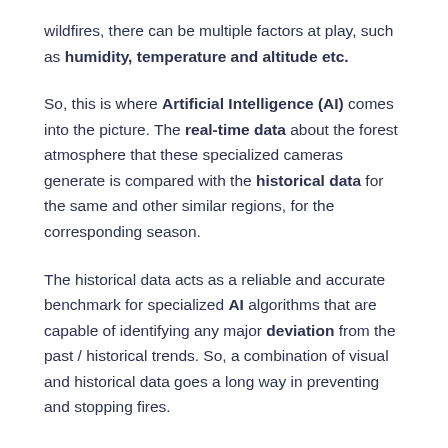wildfires, there can be multiple factors at play, such as humidity, temperature and altitude etc.
So, this is where Artificial Intelligence (AI) comes into the picture. The real-time data about the forest atmosphere that these specialized cameras generate is compared with the historical data for the same and other similar regions, for the corresponding season.
The historical data acts as a reliable and accurate benchmark for specialized AI algorithms that are capable of identifying any major deviation from the past / historical trends. So, a combination of visual and historical data goes a long way in preventing and stopping fires.